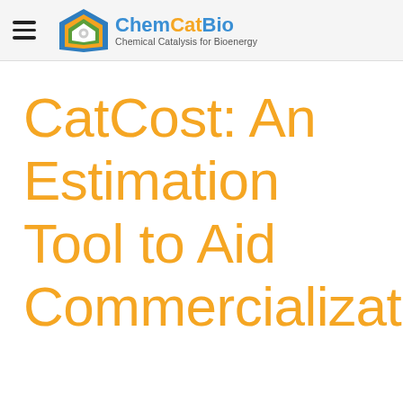ChemCatBio — Chemical Catalysis for Bioenergy
CatCost: An Estimation Tool to Aid Commercialization